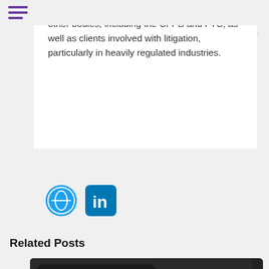[Figure (logo): Troutman Pepper law firm logo with purple and teal text]
investigated by, state attorneys general and other bodies, including the CFPB and FTC, as well as clients involved with litigation, particularly in heavily regulated industries.
[Figure (illustration): Globe icon (website) and LinkedIn icon social media buttons]
Related Posts
[Figure (photo): Hand pressing buttons on a black desk telephone]